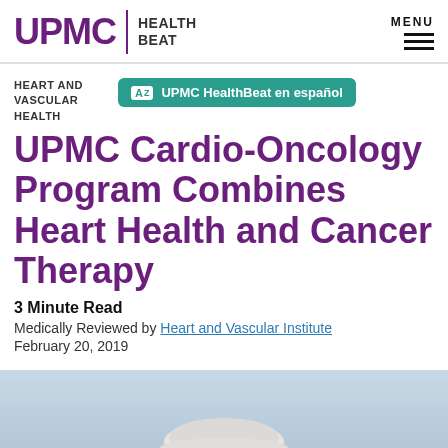UPMC | HEALTH BEAT
HEART AND VASCULAR HEALTH
UPMC HealthBeat en español
UPMC Cardio-Oncology Program Combines Heart Health and Cancer Therapy
3 Minute Read
Medically Reviewed by Heart and Vascular Institute
February 20, 2019
[Figure (photo): Partial photo of a person wearing a white hat/cap, bottom of page]